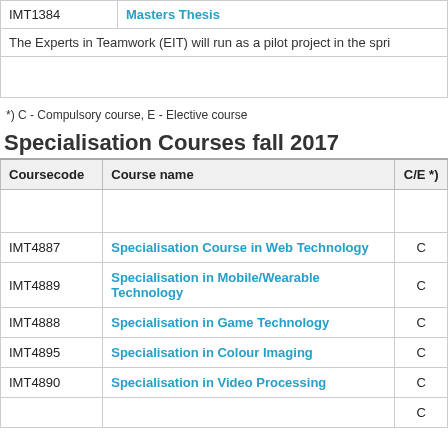| IMT1384 | Masters Thesis |
| --- | --- |
|  | The Experts in Teamwork (EIT) will run as a pilot project in the spri |
*) C - Compulsory course, E - Elective course
Specialisation Courses fall 2017
| Coursecode | Course name | C/E *) |
| --- | --- | --- |
|  |  |  |
| IMT4887 | Specialisation Course in Web Technology | C |
| IMT4889 | Specialisation in Mobile/Wearable Technology | C |
| IMT4888 | Specialisation in Game Technology | C |
| IMT4895 | Specialisation in Colour Imaging | C |
| IMT4890 | Specialisation in Video Processing | C |
|  |  | C |